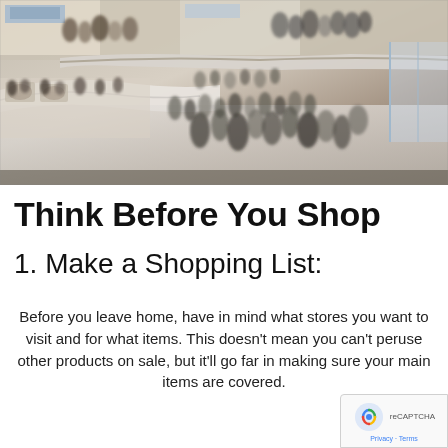[Figure (photo): Aerial/overhead view of a busy shopping mall with crowds of people on multiple levels, walkways and a cafe visible on the left side]
Think Before You Shop
1. Make a Shopping List:
Before you leave home, have in mind what stores you want to visit and for what items. This doesn't mean you can't peruse other products on sale, but it'll go far in making sure your main items are covered.